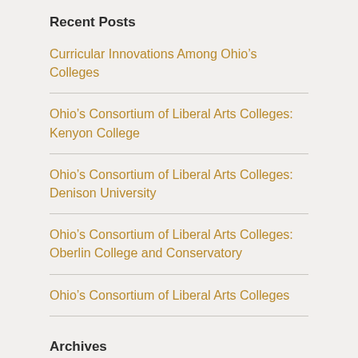Recent Posts
Curricular Innovations Among Ohio's Colleges
Ohio's Consortium of Liberal Arts Colleges: Kenyon College
Ohio's Consortium of Liberal Arts Colleges: Denison University
Ohio's Consortium of Liberal Arts Colleges: Oberlin College and Conservatory
Ohio's Consortium of Liberal Arts Colleges
Archives
July 2022